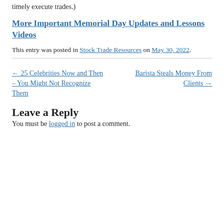timely execute trades.)
More Important Memorial Day Updates and Lessons Videos
This entry was posted in Stock Trade Resources on May 30, 2022.
← 25 Celebrities Now and Then – You Might Not Recognize Them
Barista Steals Money From Clients →
Leave a Reply
You must be logged in to post a comment.